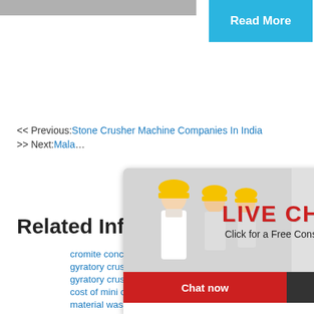[Figure (photo): Partial top image of industrial/construction setting, cropped at top]
Read More
<< Previous:Stone Crusher Machine Companies In India
>> Next:Mala...
Related Information:
cromite concentrate to smelting
gyratory crusher in the philippines
gyratory crusher foundation designs
cost of mini cement plant by rotary
material wastage in marble
molinos para polvos gruesos
[Figure (photo): Live chat popup overlay with workers in hard hats, LIVE CHAT title, Chat now and Chat later buttons]
[Figure (photo): Right sidebar with crusher machine image, hour online text, Click me to chat>> button, Enquiry section, limingjlmofen username]